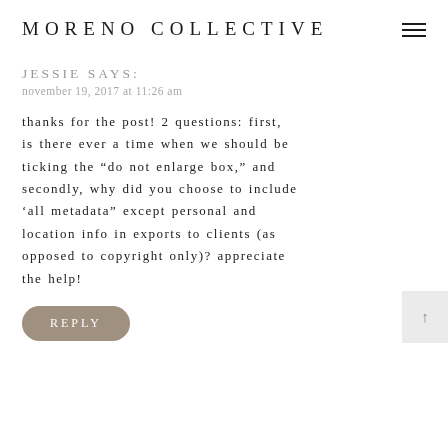MORENO COLLECTIVE
JESSIE SAYS:
november 19, 2017 at 11:26 am
thanks for the post! 2 questions: first, is there ever a time when we should be ticking the “do not enlarge box,” and secondly, why did you choose to include ‘all metadata” except personal and location info in exports to clients (as opposed to copyright only)? appreciate the help!
REPLY